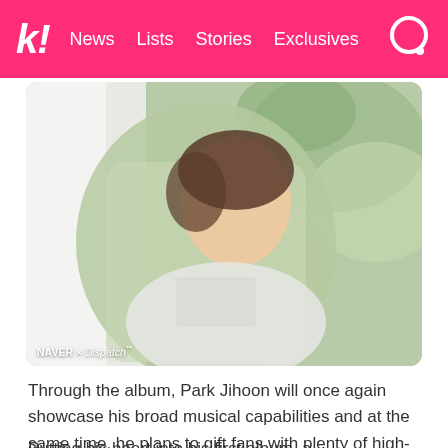k! News  Lists  Stories  Exclusives
[Figure (photo): Park Jihoon K-pop idol photo shoot, wearing a light green draped fabric and white graphic t-shirt, soft natural lighting with green foliage background, NAVER x Dispatch watermark]
Through the album, Park Jihoon will once again showcase his broad musical capabilities and at the same time, he plans to gift fans with plenty of high-quality songs that were made in collaboration with top producers.
Putting his heart into his first album, a